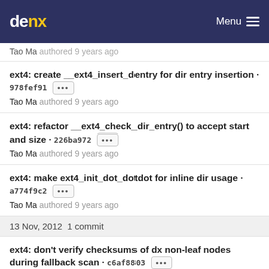denx  Menu
Tao Ma authored 9 years ago
ext4: create __ext4_insert_dentry for dir entry insertion · 978fef91 [...]
Tao Ma authored 9 years ago
ext4: refactor __ext4_check_dir_entry() to accept start and size · 226ba972 [...]
Tao Ma authored 9 years ago
ext4: make ext4_init_dot_dotdot for inline dir usage · a774f9c2 [...]
Tao Ma authored 9 years ago
13 Nov, 2012  1 commit
ext4: don't verify checksums of dx non-leaf nodes during fallback scan · c6af8803 [...]
Darrick J. Wong authored 9 years ago
Imprint & Privacy Policy